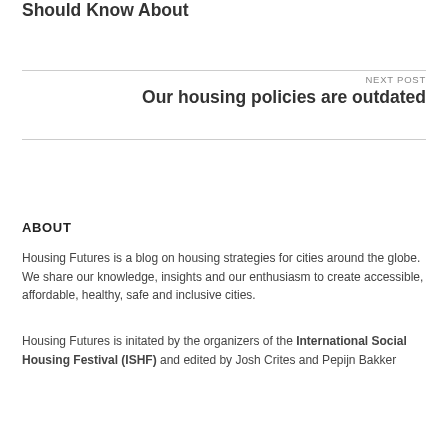5 Women Leaders in Public Housing You Should Know About
NEXT POST
Our housing policies are outdated
ABOUT
Housing Futures is a blog on housing strategies for cities around the globe. We share our knowledge, insights and our enthusiasm to create accessible, affordable, healthy, safe and inclusive cities.
Housing Futures is initated by the organizers of the International Social Housing Festival (ISHF) and edited by Josh Crites and Pepijn Bakker